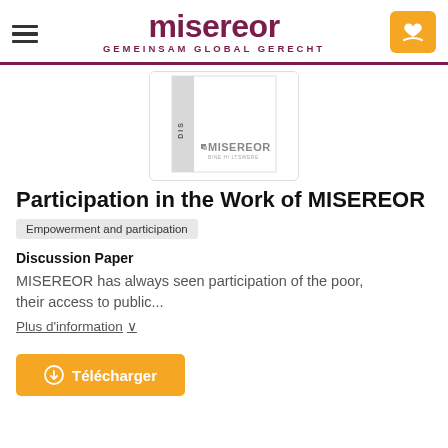misereor GEMEINSAM GLOBAL GERECHT
[Figure (other): Thumbnail cover of a document with DIS label on spine and MISEREOR logo]
Participation in the Work of MISEREOR
Empowerment and participation
Discussion Paper
MISEREOR has always seen participation of the poor, their access to public...
Plus d'information ∨
Télécharger